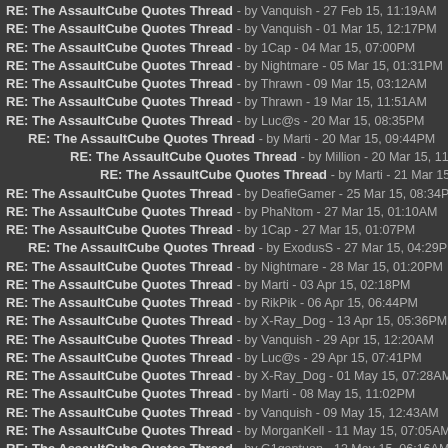RE: The AssaultCube Quotes Thread - by Vanquish - 27 Feb 15, 11:19AM
RE: The AssaultCube Quotes Thread - by Vanquish - 01 Mar 15, 12:17PM
RE: The AssaultCube Quotes Thread - by 1Cap - 04 Mar 15, 07:00PM
RE: The AssaultCube Quotes Thread - by Nightmare - 05 Mar 15, 01:31PM
RE: The AssaultCube Quotes Thread - by Thrawn - 09 Mar 15, 03:12AM
RE: The AssaultCube Quotes Thread - by Thrawn - 19 Mar 15, 11:51AM
RE: The AssaultCube Quotes Thread - by Luc@s - 20 Mar 15, 08:35PM
RE: The AssaultCube Quotes Thread - by Marti - 20 Mar 15, 09:44PM
RE: The AssaultCube Quotes Thread - by Million - 20 Mar 15, 11:35PM
RE: The AssaultCube Quotes Thread - by Marti - 21 Mar 15, 07:08AM
RE: The AssaultCube Quotes Thread - by DeafieGamer - 25 Mar 15, 08:34PM
RE: The AssaultCube Quotes Thread - by PhaNtom - 27 Mar 15, 01:10AM
RE: The AssaultCube Quotes Thread - by 1Cap - 27 Mar 15, 01:07PM
RE: The AssaultCube Quotes Thread - by ExodusS - 27 Mar 15, 04:29PM
RE: The AssaultCube Quotes Thread - by Nightmare - 28 Mar 15, 01:20PM
RE: The AssaultCube Quotes Thread - by Marti - 03 Apr 15, 02:18PM
RE: The AssaultCube Quotes Thread - by RikPik - 06 Apr 15, 06:44PM
RE: The AssaultCube Quotes Thread - by X-Ray_Dog - 13 Apr 15, 05:36PM
RE: The AssaultCube Quotes Thread - by Vanquish - 29 Apr 15, 12:20AM
RE: The AssaultCube Quotes Thread - by Luc@s - 29 Apr 15, 07:41PM
RE: The AssaultCube Quotes Thread - by X-Ray_Dog - 01 May 15, 07:28AM
RE: The AssaultCube Quotes Thread - by Marti - 08 May 15, 11:02PM
RE: The AssaultCube Quotes Thread - by Vanquish - 09 May 15, 12:43AM
RE: The AssaultCube Quotes Thread - by MorganKell - 11 May 15, 07:05AM
RE: The AssaultCube Quotes Thread - by G1gantuan - 13 May 15, 06:16AM